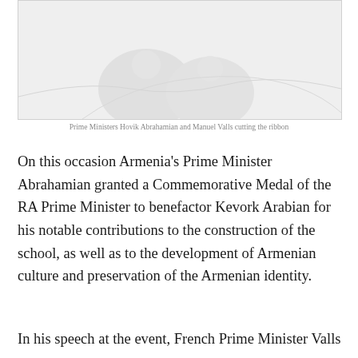[Figure (photo): Photo of Prime Ministers Hovik Abrahamian and Manuel Valls cutting the ribbon]
Prime Ministers Hovik Abrahamian and Manuel Valls cutting the ribbon
On this occasion Armenia's Prime Minister Abrahamian granted a Commemorative Medal of the RA Prime Minister to benefactor Kevork Arabian for his notable contributions to the construction of the school, as well as to the development of Armenian culture and preservation of the Armenian identity.
In his speech at the event, French Prime Minister Valls